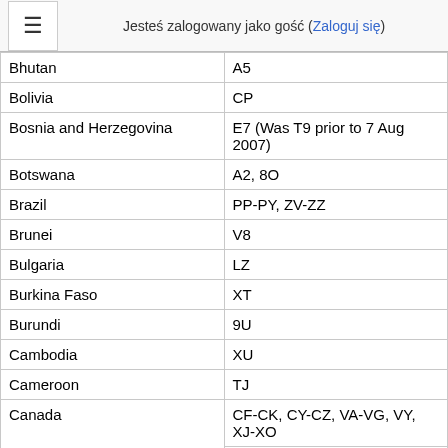Jesteś zalogowany jako gość (Zaloguj się)
| Country | Prefix |
| --- | --- |
| Bhutan | A5 |
| Bolivia | CP |
| Bosnia and Herzegovina | E7 (Was T9 prior to 7 Aug 2007) |
| Botswana | A2, 8O |
| Brazil | PP-PY, ZV-ZZ |
| Brunei | V8 |
| Bulgaria | LZ |
| Burkina Faso | XT |
| Burundi | 9U |
| Cambodia | XU |
| Cameroon | TJ |
| Canada | CF-CK, CY-CZ, VA-VG, VY, XJ-XO |
| Canada | VO (Newfoundland) |
| Cape Verde | D4 |
| Central African Republic | TL |